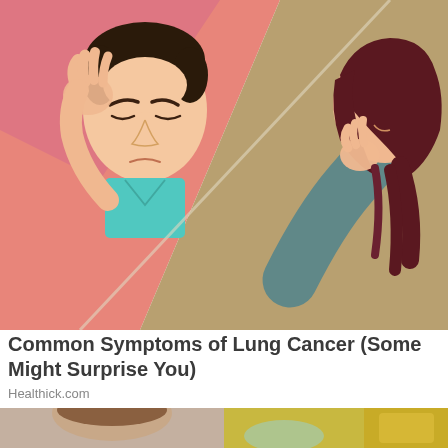[Figure (illustration): Split illustration showing a man holding his head in distress on the left (pink-red background) and a woman hunched over crying on the right (tan/gold background), depicting symptoms of lung cancer.]
Common Symptoms of Lung Cancer (Some Might Surprise You)
Healthick.com
[Figure (photo): Bottom partial images: left shows a woman's head/face from behind, right shows a bowl of food and olive oil.]